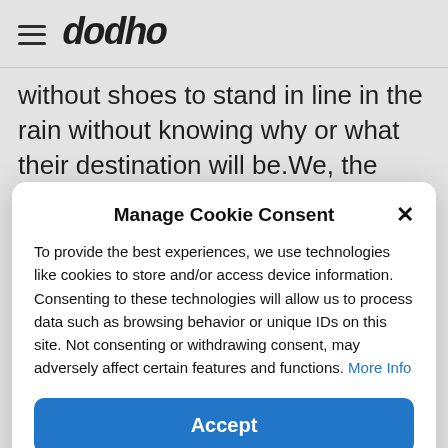dodho
without shoes to stand in line in the rain without knowing why or what their destination will be.We, the ‘Basel hilft mit’ Team, are here in Basel and Landkreis Lörrach to help the
Manage Cookie Consent
To provide the best experiences, we use technologies like cookies to store and/or access device information. Consenting to these technologies will allow us to process data such as browsing behavior or unique IDs on this site. Not consenting or withdrawing consent, may adversely affect certain features and functions. More Info
Accept